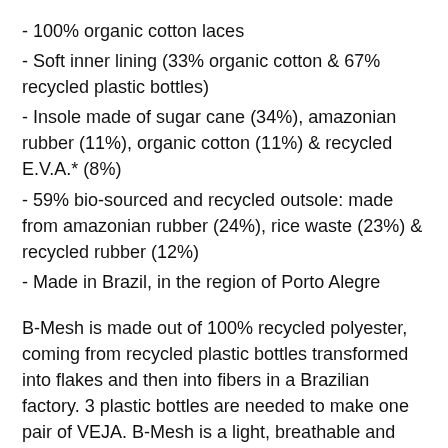- 100% organic cotton laces
- Soft inner lining (33% organic cotton & 67% recycled plastic bottles)
- Insole made of sugar cane (34%), amazonian rubber (11%), organic cotton (11%) & recycled E.V.A.* (8%)
- 59% bio-sourced and recycled outsole: made from amazonian rubber (24%), rice waste (23%) & recycled rubber (12%)
- Made in Brazil, in the region of Porto Alegre
B-Mesh is made out of 100% recycled polyester, coming from recycled plastic bottles transformed into flakes and then into fibers in a Brazilian factory. 3 plastic bottles are needed to make one pair of VEJA. B-Mesh is a light, breathable and waterproof